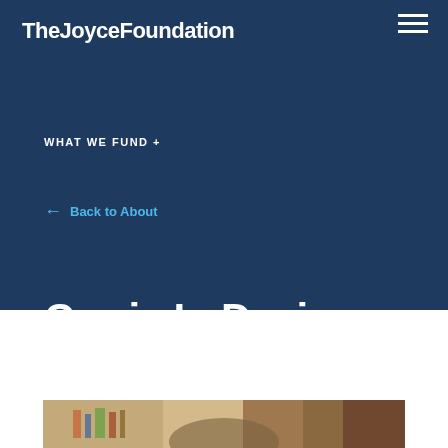TheJoyceFoundation
WHAT WE FUND +
← Back to About
Carrie L. Davis
Program Director
[Figure (photo): Partial photo of a person with brown hair, in front of a bookshelf with colorful book spines visible in a blurred background.]